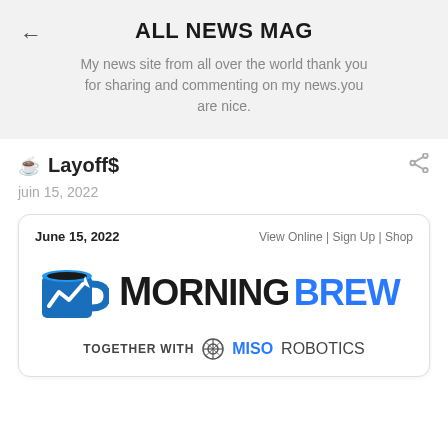ALL NEWS MAG
My news site from all over the world thank you for sharing and commenting on my news.you are nice.
Layoff$
juin 15, 2022
[Figure (screenshot): Morning Brew newsletter card dated June 15, 2022 with Morning Brew logo (blue mug with white chart arrow) and text 'TOGETHER WITH MISO ROBOTICS'. Card contains: date 'June 15, 2022', links 'View Online | Sign Up | Shop']